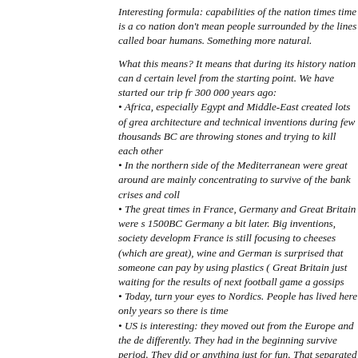Interesting formula: capabilities of the nation times time is a co nation don't mean people surrounded by the lines called boar humans. Something more natural.
What this means? It means that during its history nation can d certain level from the starting point. We have started our trip fr 300 000 years ago:
Africa, especially Egypt and Middle-East created lots of grea architecture and technical inventions during few thousands BC are throwing stones and trying to kill each other
In the northern side of the Mediterranean were great around are mainly concentrating to survive of the bank crises and coll
The great times in France, Germany and Great Britain were s 1500BC Germany a bit later. Big inventions, society developm France is still focusing to cheeses (which are great), wine and German is surprised that someone can pay by using plastics ( Great Britain just waiting for the results of next football game a gossips
Today, turn your eyes to Nordics. People has lived here only years so there is time
US is interesting: they moved out from the Europe and the de differently. They had in the beginning survive period. They did or anything just for fun. That separated their values from Euro view, it created a strange attitude to money, making of money But still. The greediness still drives new stuff.
A bit simplified but so true? And where we will go?